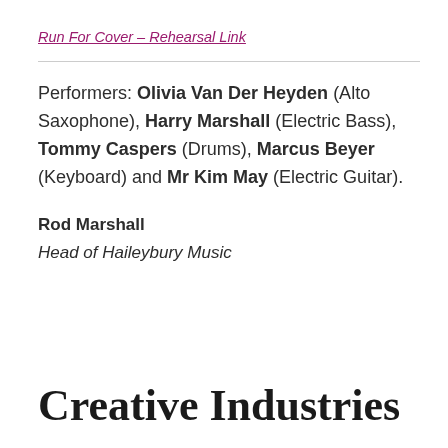Run For Cover – Rehearsal Link
Performers: Olivia Van Der Heyden (Alto Saxophone), Harry Marshall (Electric Bass), Tommy Caspers (Drums), Marcus Beyer (Keyboard) and Mr Kim May (Electric Guitar).
Rod Marshall
Head of Haileybury Music
Creative Industries